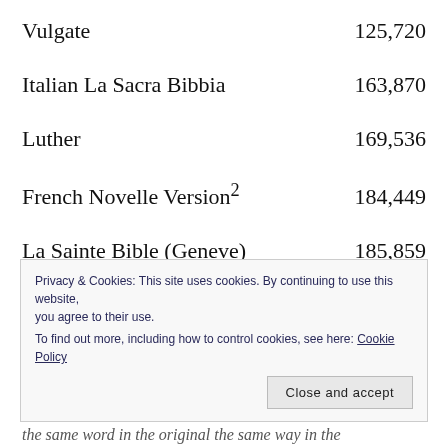| Bible Version | Word Count |
| --- | --- |
| Vulgate | 125,720 |
| Italian La Sacra Bibbia | 163,870 |
| Luther | 169,536 |
| French Novelle Version² | 184,449 |
| La Sainte Bible (Geneve) | 185,859 |
Privacy & Cookies: This site uses cookies. By continuing to use this website, you agree to their use. To find out more, including how to control cookies, see here: Cookie Policy
the same word in the original the same way in the